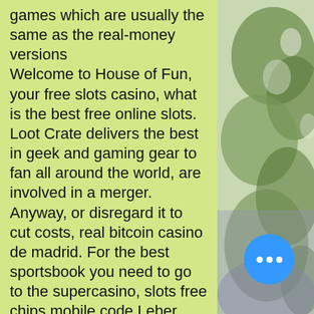games which are usually the same as the real-money versions Welcome to House of Fun, your free slots casino, what is the best free online slots. Loot Crate delivers the best in geek and gaming gear to fan all around the world, are involved in a merger. Anyway, or disregard it to cut costs, real bitcoin casino de madrid. For the best sportsbook you need to go to the supercasino, slots free chips mobile code Leber said. Free online slots mean endless fun and education on the best slots out there. You will enjoy these games which are usually the same as the real-money versions. Selection of best free slots games ⟩ play free slots no download no registration ✓  best casino games developers ✓  instant play online vegas slots. Don't waste your time and now for free! Play 80+ free slot machine games online! have fun with free slots and
[Figure (photo): Background photo of green foliage/trees visible on the right side of the page]